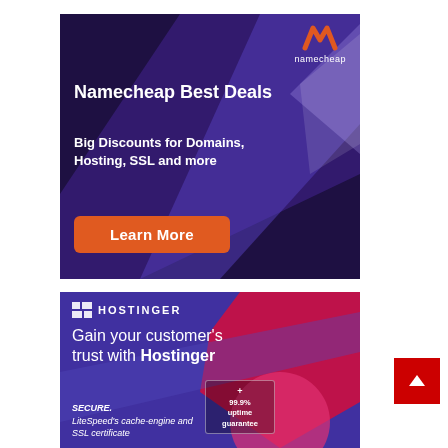[Figure (illustration): Namecheap advertisement banner with dark purple background, decorative geometric shapes, orange logo mark and 'namecheap' text top-right, headline 'Namecheap Best Deals', subheadline 'Big Discounts for Domains, Hosting, SSL and more', and orange 'Learn More' button.]
[Figure (illustration): Hostinger advertisement banner with purple/blue background, red geometric shapes, Hostinger logo top-left, headline 'Gain your customer's trust with Hostinger', italic text 'SECURE. LiteSpeed's cache-engine and SSL certificate', and a badge showing '+99.9% uptime guarantee'.]
[Figure (other): Red scroll-to-top button with white upward chevron arrow, positioned bottom-right.]